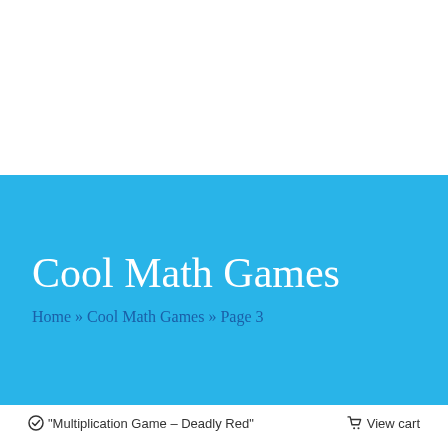Cool Math Games
Home » Cool Math Games » Page 3
"Multiplication Game – Deadly Red"   View cart